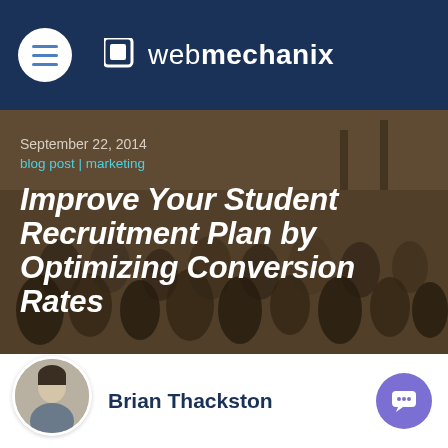webmechanix
[Figure (photo): Background photo of a crowd of students/people with a brownish-blue overlay tint]
September 22, 2014
blog post | marketing
Improve Your Student Recruitment Plan by Optimizing Conversion Rates
Brian Thackston